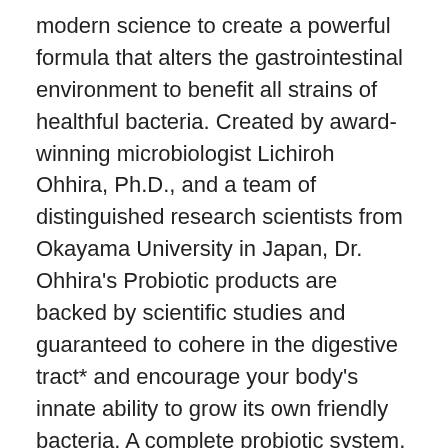modern science to create a powerful formula that alters the gastrointestinal environment to benefit all strains of healthful bacteria. Created by award-winning microbiologist Lichiroh Ohhira, Ph.D., and a team of distinguished research scientists from Okayama University in Japan, Dr. Ohhira's Probiotic products are backed by scientific studies and guaranteed to cohere in the digestive tract* and encourage your body's innate ability to grow its own friendly bacteria. A complete probiotic system, Dr. Ohhira's Original Formula is not cultured or grown in a laboratory, as are most other probiotic products. Natural crops and pure water are fermented* for three years with 12 distinctive probiotic strains, including TH10, a proprietary strain discovered by Dr. Ohhira, and which is six times more effective at breaking down proteins and making nutrients available than other strains known to